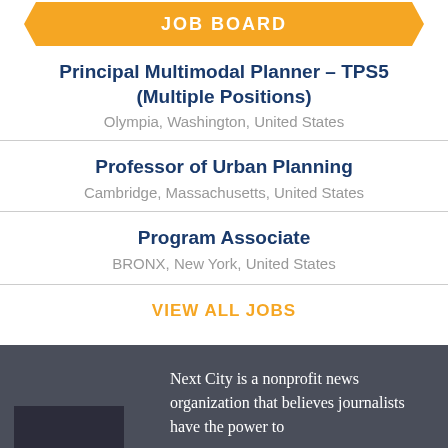JOB BOARD
Principal Multimodal Planner - TPS5 (Multiple Positions)
Olympia, Washington, United States
Professor of Urban Planning
Cambridge, Massachusetts, United States
Program Associate
BRONX, New York, United States
VIEW ALL JOBS
Next City is a nonprofit news organization that believes journalists have the power to
[Figure (screenshot): Advertisement banner: 'Get our stories delivered directly to your phone with the NEW Next City app!' shown at bottom of page over dark background, with close button.]